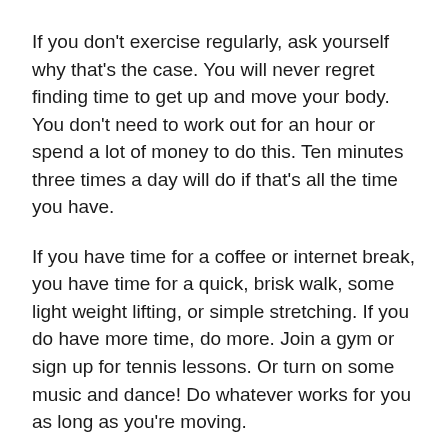If you don't exercise regularly, ask yourself why that's the case. You will never regret finding time to get up and move your body. You don't need to work out for an hour or spend a lot of money to do this. Ten minutes three times a day will do if that's all the time you have.
If you have time for a coffee or internet break, you have time for a quick, brisk walk, some light weight lifting, or simple stretching. If you do have more time, do more. Join a gym or sign up for tennis lessons. Or turn on some music and dance! Do whatever works for you as long as you're moving.
Practice yoga and meditation
While yoga can come under the heading of exercise, it is